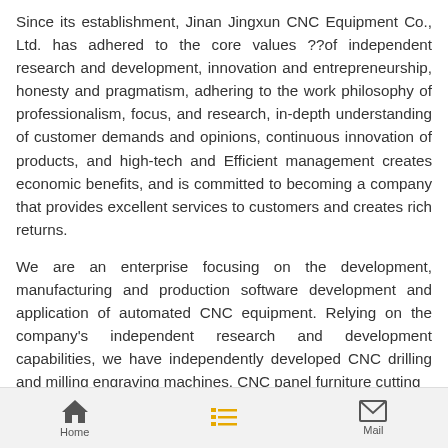Since its establishment, Jinan Jingxun CNC Equipment Co., Ltd. has adhered to the core values ??of independent research and development, innovation and entrepreneurship, honesty and pragmatism, adhering to the work philosophy of professionalism, focus, and research, in-depth understanding of customer demands and opinions, continuous innovation of products, and high-tech and Efficient management creates economic benefits, and is committed to becoming a company that provides excellent services to customers and creates rich returns.
We are an enterprise focusing on the development, manufacturing and production software development and application of automated CNC equipment. Relying on the company's independent research and development capabilities, we have independently developed CNC drilling and milling engraving machines, CNC panel furniture cutting
Home  Mail